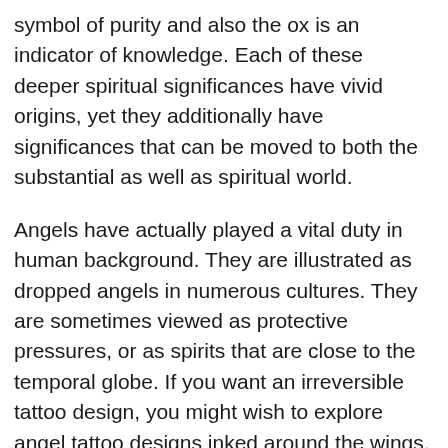symbol of purity and also the ox is an indicator of knowledge. Each of these deeper spiritual significances have vivid origins, yet they additionally have significances that can be moved to both the substantial as well as spiritual world.
Angels have actually played a vital duty in human background. They are illustrated as dropped angels in numerous cultures. They are sometimes viewed as protective pressures, or as spirits that are close to the temporal globe. If you want an irreversible tattoo design, you might wish to explore angel tattoo designs inked around the wings, either partly or completely, relying on your personality and also which angel you choose to embody.
Angel tattoos are prominent with people that desire a sign that speaks to their spirituality. As you possibly already know, there